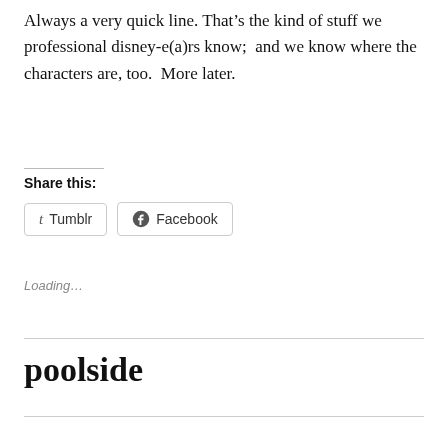Always a very quick line. That’s the kind of stuff we professional disney-e(a)rs know;  and we know where the characters are, too.  More later.
Share this:
[Figure (other): Share buttons for Tumblr and Facebook]
Loading…
poolside